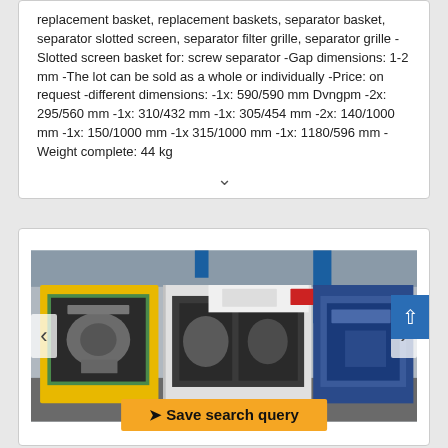replacement basket, replacement baskets, separator basket, separator slotted screen, separator filter grille, separator grille -Slotted screen basket for: screw separator -Gap dimensions: 1-2 mm -The lot can be sold as a whole or individually -Price: on request -different dimensions: -1x: 590/590 mm Dvngpm -2x: 295/560 mm -1x: 310/432 mm -1x: 305/454 mm -2x: 140/1000 mm -1x: 150/1000 mm -1x 315/1000 mm -1x: 1180/596 mm -Weight complete: 44 kg
[Figure (photo): Photo of an industrial machine with yellow and green panels, showing mechanical components, in a factory/workshop setting. Navigation arrows on left and right. 'Save search query' button at the bottom.]